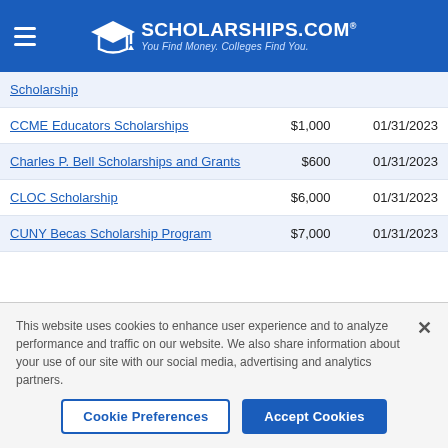SCHOLARSHIPS.COM — You Find Money. Colleges Find You.
| Scholarship | Amount | Deadline |
| --- | --- | --- |
| Scholarship |  |  |
| CCME Educators Scholarships | $1,000 | 01/31/2023 |
| Charles P. Bell Scholarships and Grants | $600 | 01/31/2023 |
| CLOC Scholarship | $6,000 | 01/31/2023 |
| CUNY Becas Scholarship Program | $7,000 | 01/31/2023 |
This website uses cookies to enhance user experience and to analyze performance and traffic on our website. We also share information about your use of our site with our social media, advertising and analytics partners.